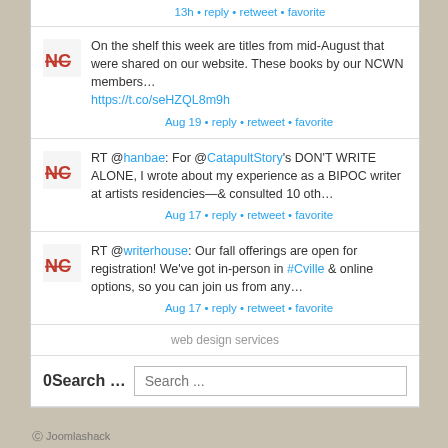13h • reply • retweet • favorite
On the shelf this week are titles from mid-August that were shared on our website. These books by our NCWN members… https://t.co/seHZQL8m9h
Aug 19 • reply • retweet • favorite
RT @hanbae: For @CatapultStory's DON'T WRITE ALONE, I wrote about my experience as a BIPOC writer at artists residencies—& consulted 10 oth…
Aug 17 • reply • retweet • favorite
RT @writerhouse: Our fall offerings are open for registration! We've got in-person in #Cville & online options, so you can join us from any…
Aug 17 • reply • retweet • favorite
web design services
0Search … Search ...
Joomlashack